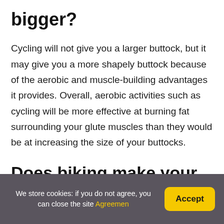bigger?
Cycling will not give you a larger buttock, but it may give you a more shapely buttock because of the aerobic and muscle-building advantages it provides. Overall, aerobic activities such as cycling will be more effective at burning fat surrounding your glute muscles than they would be at increasing the size of your buttocks.
Does biking make your waist smaller?
We store cookies: if you do not agree, you can close the site Agreemen